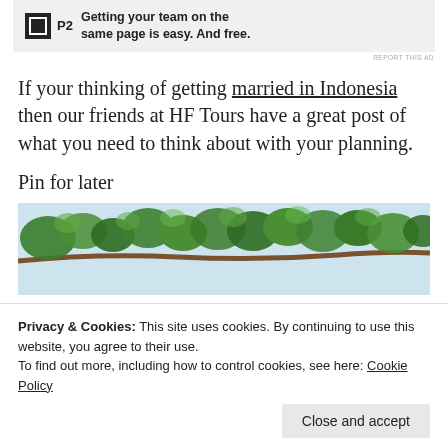[Figure (other): P2 advertisement banner: logo and text 'Getting your team on the same page is easy. And free.']
If your thinking of getting married in Indonesia then our friends at HF Tours have a great post of what you need to think about with your planning.
Pin for later
[Figure (photo): Photo of green leafy tree branches against a light blue sky]
Privacy & Cookies: This site uses cookies. By continuing to use this website, you agree to their use.
To find out more, including how to control cookies, see here: Cookie Policy